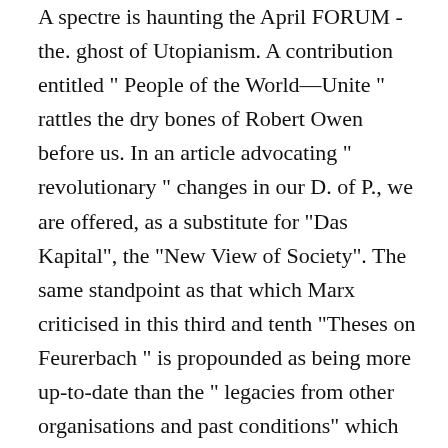A spectre is haunting the April FORUM -the. ghost of Utopianism. A contribution entitled " People of the World—Unite " rattles the dry bones of Robert Owen before us. In an article advocating " revolutionary " changes in our D. of P., we are offered, as a substitute for "Das Kapital", the "New View of Society". The same standpoint as that which Marx criticised in this third and tenth "Theses on Feurerbach " is propounded as being more up-to-date than the " legacies from other organisations and past conditions" which allegedly constitute the present socialist case. There is, seemingly, no necessity for talk (or action) about class-struggle on the political field. All that is needed is to become class-conscious, which " simply means seeing that there are two classes in Society whose interests are opposed, and that so long as Capitalism lasts there will be class struggle". Having adopted this